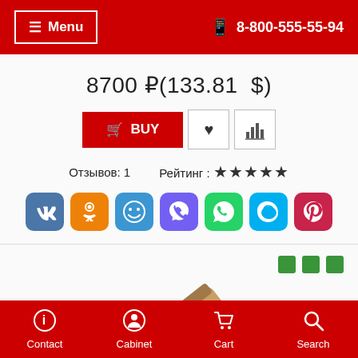Menu  8-800-555-55-94
8700 ₽(133.81 $)
BUY
Отзывов: 1   Рейтинг: ★★★★★
[Figure (screenshot): Social sharing icons: VK, Odnoklassniki, Faces, Viber, WhatsApp, Skype, Pinterest]
[Figure (photo): Product photo of a chisel tool with wooden handle, shown diagonally on a white background, with three green dot indicators in the upper right]
Contact  Cabinet  Cart  Search